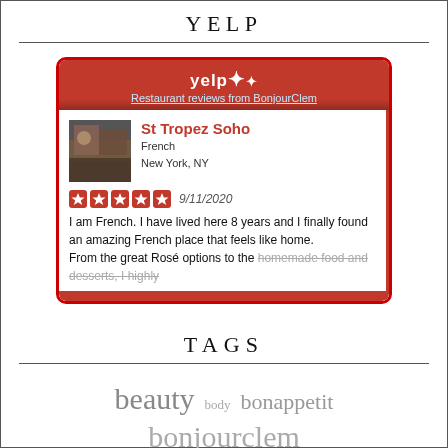YELP
[Figure (screenshot): Yelp widget showing a restaurant review from BonjourClem for St Tropez Soho, French restaurant in New York NY. 5-star review dated 9/11/2020. Review text: 'I am French. I have lived here 8 years and I finally found an amazing French place that feels like home. From the great Rosé options to the homemade food and desserts, I highly...' (truncated)]
TAGS
beauty
body
bonappetit
bonjourclem